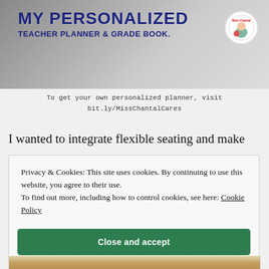[Figure (photo): Banner image showing a teacher planner and grade book with bold blue text 'MY PERSONALIZED TEACHER PLANNER & GRADE BOOK.' and a circular logo for Miss Chantal Cares in the top right corner]
To get your own personalized planner, visit bit.ly/MissChantalCares
I wanted to integrate flexible seating and make
Privacy & Cookies: This site uses cookies. By continuing to use this website, you agree to their use.
To find out more, including how to control cookies, see here: Cookie Policy
Close and accept
[Figure (photo): Bottom portion of a classroom image showing colorful seating materials]